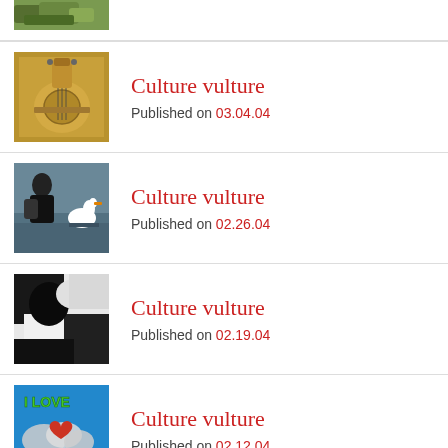[Figure (photo): Partial cropped image at top, appears to show foliage or nature scene]
[Figure (photo): Person playing a golden/yellow electric guitar]
Culture vulture
Published on 03.04.04
[Figure (photo): Person feeding a white swan near water]
Culture vulture
Published on 02.26.04
[Figure (photo): Black and white abstract or animal image]
Culture vulture
Published on 02.19.04
[Figure (illustration): Colorful cartoon illustration with text 'I LOVE YOU MAN' with heart and clouds]
Culture vulture
Published on 02.12.04